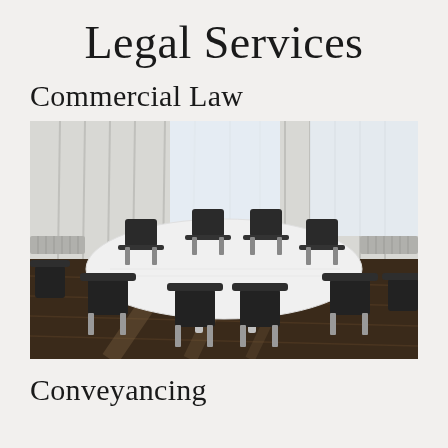Legal Services
Commercial Law
[Figure (photo): Conference room with a large white oval table and multiple black executive chairs on a wooden floor, with bright windows and white curtains in the background.]
Conveyancing